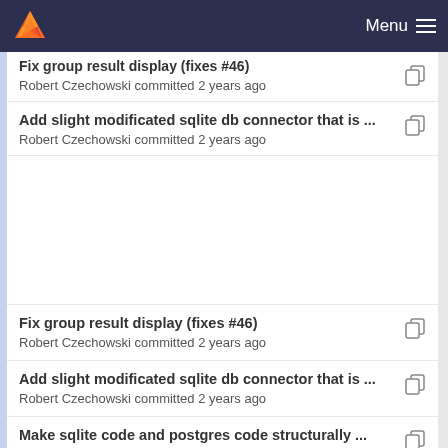Menu
Fix group result display (fixes #46)
Robert Czechowski committed 2 years ago
Add slight modificated sqlite db connector that is ...
Robert Czechowski committed 2 years ago
Fix group result display (fixes #46)
Robert Czechowski committed 2 years ago
Add slight modificated sqlite db connector that is ...
Robert Czechowski committed 2 years ago
Make sqlite code and postgres code structurally ...
Robert Czechowski committed 2 years ago
Fix group result display (fixes #46)
Robert Czechowski committed 2 years ago